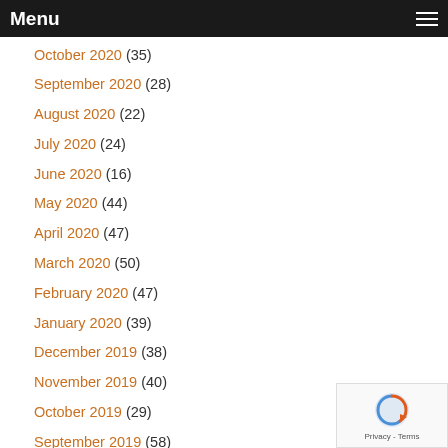Menu
October 2020 (35)
September 2020 (28)
August 2020 (22)
July 2020 (24)
June 2020 (16)
May 2020 (44)
April 2020 (47)
March 2020 (50)
February 2020 (47)
January 2020 (39)
December 2019 (38)
November 2019 (40)
October 2019 (29)
September 2019 (58)
August 2019 (16)
July 2019 (19)
June 2019 (25)
May 2019 (8)